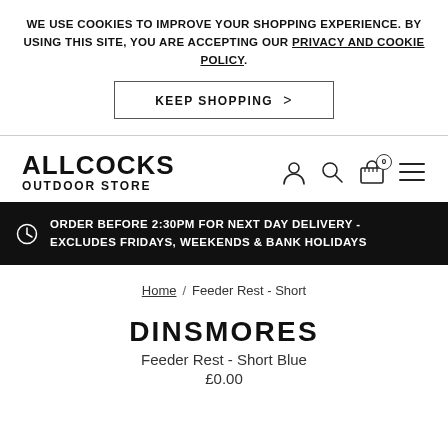WE USE COOKIES TO IMPROVE YOUR SHOPPING EXPERIENCE. BY USING THIS SITE, YOU ARE ACCEPTING OUR PRIVACY AND COOKIE POLICY.
KEEP SHOPPING >
[Figure (logo): Allcocks Outdoor Store logo text with navigation icons (user, search, cart with 0 badge, hamburger menu)]
ORDER BEFORE 2:30PM FOR NEXT DAY DELIVERY - EXCLUDES FRIDAYS, WEEKENDS & BANK HOLIDAYS
Home / Feeder Rest - Short
DINSMORES
Feeder Rest - Short Blue